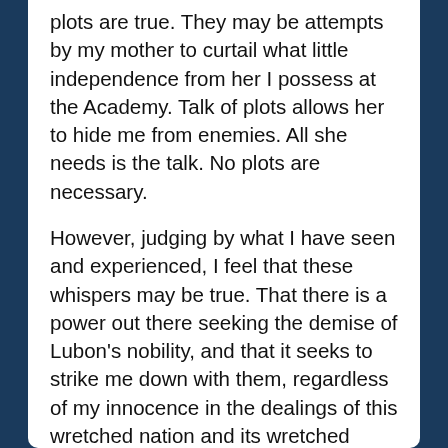plots are true. They may be attempts by my mother to curtail what little independence from her I possess at the Academy. Talk of plots allows her to hide me from enemies. All she needs is the talk. No plots are necessary.
However, judging by what I have seen and experienced, I feel that these whispers may be true. That there is a power out there seeking the demise of Lubon's nobility, and that it seeks to strike me down with them, regardless of my innocence in the dealings of this wretched nation and its wretched partners. I am half